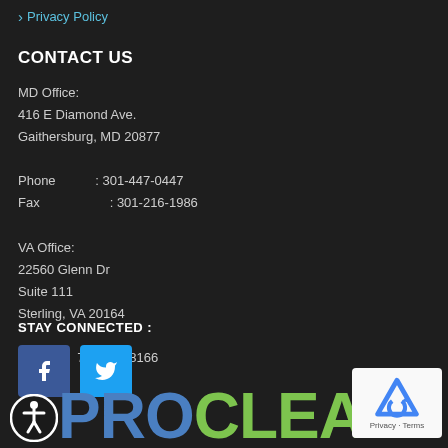Privacy Policy
CONTACT US
MD Office:
416 E Diamond Ave.
Gaithersburg, MD 20877

Phone      : 301-447-0447
Fax           : 301-216-1986

VA Office:
22560 Glenn Dr
Suite 111
Sterling, VA 20164

Phone:      703-646-8166
STAY CONNECTED :
[Figure (other): Facebook and Twitter social media icon buttons]
[Figure (logo): ProClean company logo with accessibility icon and reCAPTCHA badge]